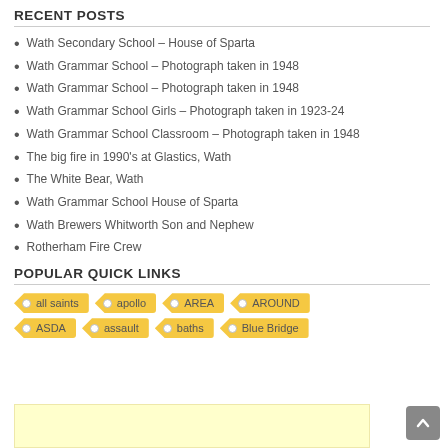RECENT POSTS
Wath Secondary School – House of Sparta
Wath Grammar School – Photograph taken in 1948
Wath Grammar School – Photograph taken in 1948
Wath Grammar School Girls – Photograph taken in 1923-24
Wath Grammar School Classroom – Photograph taken in 1948
The big fire in 1990's at Glastics, Wath
The White Bear, Wath
Wath Grammar School House of Sparta
Wath Brewers Whitworth Son and Nephew
Rotherham Fire Crew
POPULAR QUICK LINKS
all saints, apollo, AREA, AROUND, ASDA, assault, baths, Blue Bridge
[Figure (other): Light yellow content box at the bottom of the page]